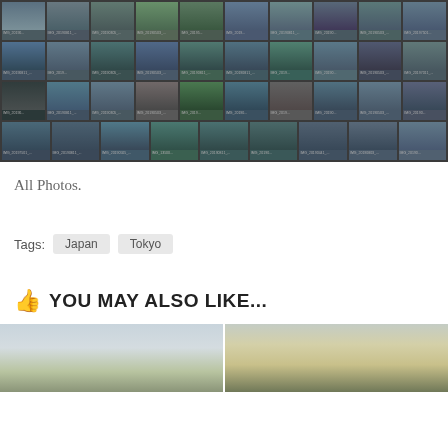[Figure (photo): Grid of photo thumbnails showing outdoor landscape/cityscape photos from Japan, arranged in 4 rows of 10 thumbnails each, with filenames below each thumbnail on a dark background]
All Photos.
Tags:  Japan  Tokyo
YOU MAY ALSO LIKE...
[Figure (photo): Two preview photos side by side showing outdoor scenes with sky and landscape, partially visible at bottom of page]